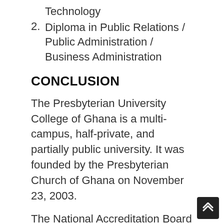Technology
2. Diploma in Public Relations / Public Administration / Business Administration
CONCLUSION
The Presbyterian University College of Ghana is a multi-campus, half-private, and partially public university. It was founded by the Presbyterian Church of Ghana on November 23, 2003.
The National Accreditation Board has given accreditation to one of Ghana's newest institutions. Presbyterian University College offers a wide range of undergraduate courses and programs.